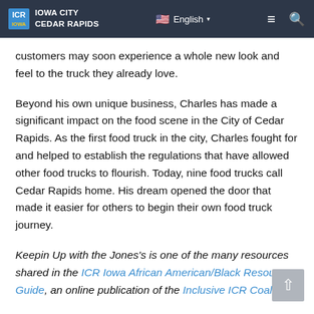ICR IOWA CITY CEDAR RAPIDS | English | ☰ 🔍
customers may soon experience a whole new look and feel to the truck they already love.
Beyond his own unique business, Charles has made a significant impact on the food scene in the City of Cedar Rapids. As the first food truck in the city, Charles fought for and helped to establish the regulations that have allowed other food trucks to flourish. Today, nine food trucks call Cedar Rapids home. His dream opened the door that made it easier for others to begin their own food truck journey.
Keepin Up with the Jones's is one of the many resources shared in the ICR Iowa African American/Black Resource Guide, an online publication of the Inclusive ICR Coalition.